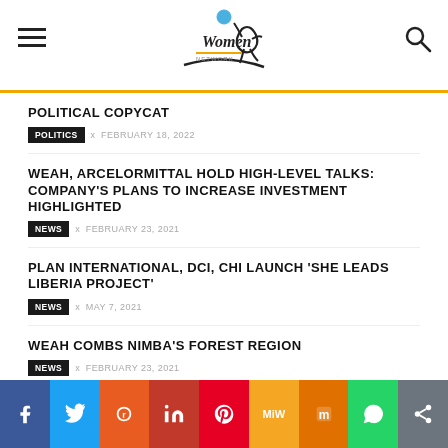Women Future [logo]
POLITICAL COPYCAT
POLITICS  x  FEBRUARY 18, 2022
WEAH, ARCELORMITTAL HOLD HIGH-LEVEL TALKS: COMPANY'S PLANS TO INCREASE INVESTMENT HIGHLIGHTED
NEWS  x  FEBRUARY 23, 2021
PLAN INTERNATIONAL, DCI, CHI LAUNCH 'SHE LEADS LIBERIA PROJECT'
NEWS  x  MAY 7, 2021
WEAH COMBS NIMBA'S FOREST REGION
NEWS  x  FEBRUARY 23, 2021
Social share bar: Facebook, Twitter, Reddit, LinkedIn, Pinterest, MeWe, Mix, WhatsApp, Share